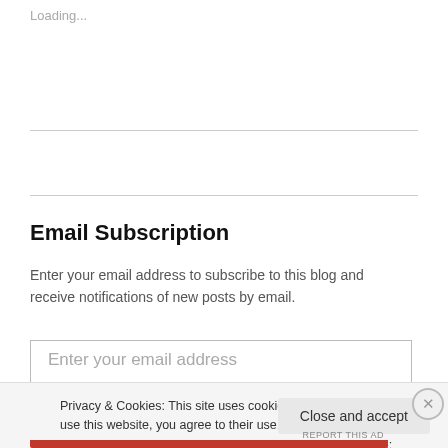Loading...
Email Subscription
Enter your email address to subscribe to this blog and receive notifications of new posts by email.
Enter your email address
Privacy & Cookies: This site uses cookies. By continuing to use this website, you agree to their use.
To find out more, including how to control cookies, see here: Cookie Policy
Close and accept